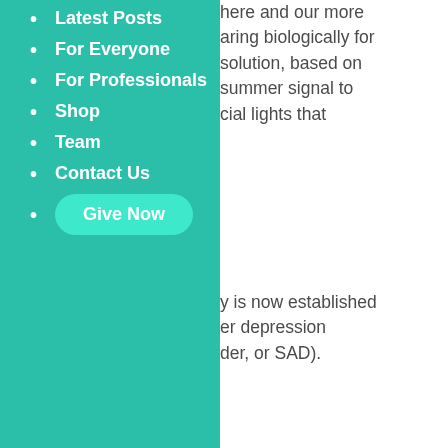Latest Posts
For Everyone
For Professionals
Shop
Team
Contact Us
Give Now
here and our more aring biologically for solution, based on summer signal to cial lights that
y is now established er depression der, or SAD).
inding by the al trials were he far north he potential of light Clinics in Alaska, along with many US in controlled trials of ers of the public rch subjects, even active treatment.